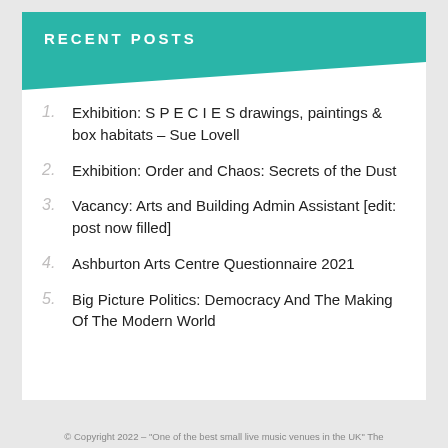RECENT POSTS
Exhibition: S P E C I E S drawings, paintings & box habitats – Sue Lovell
Exhibition: Order and Chaos: Secrets of the Dust
Vacancy: Arts and Building Admin Assistant [edit: post now filled]
Ashburton Arts Centre Questionnaire 2021
Big Picture Politics: Democracy And The Making Of The Modern World
© Copyright 2022 – "One of the best small live music venues in the UK" The